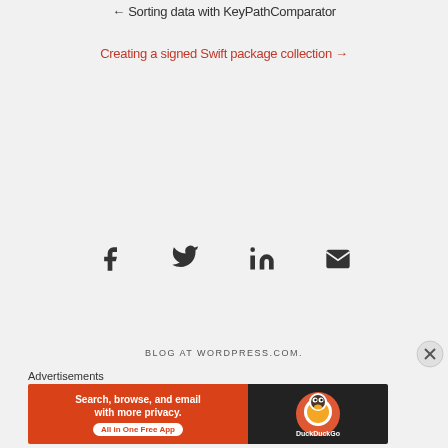← Sorting data with KeyPathComparator
Creating a signed Swift package collection →
[Figure (infographic): Social sharing icons: Facebook, Twitter, LinkedIn, Email]
BLOG AT WORDPRESS.COM.
Advertisements
[Figure (infographic): DuckDuckGo advertisement banner: Search, browse, and email with more privacy. All in One Free App]